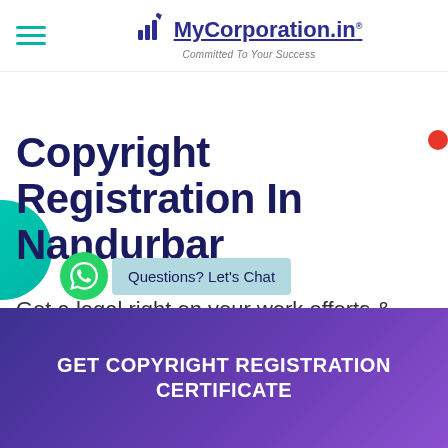[Figure (logo): MyCorporation.in logo with bar chart rocket icon and tagline 'Committed To Your Success']
Copyright Registration In Nandurbar
Get a legal right on your work efforts & keep your work from being stolen
GET COPYRIGHT REGISTRATION CERTIFICATE